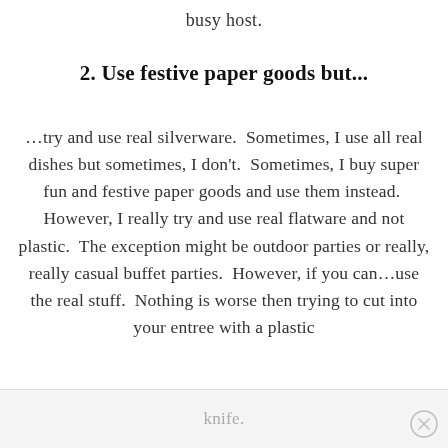busy host.
2. Use festive paper goods but...
…try and use real silverware.  Sometimes, I use all real dishes but sometimes, I don't.  Sometimes, I buy super fun and festive paper goods and use them instead.  However, I really try and use real flatware and not plastic.  The exception might be outdoor parties or really, really casual buffet parties.  However, if you can…use the real stuff.  Nothing is worse then trying to cut into your entree with a plastic
knife.